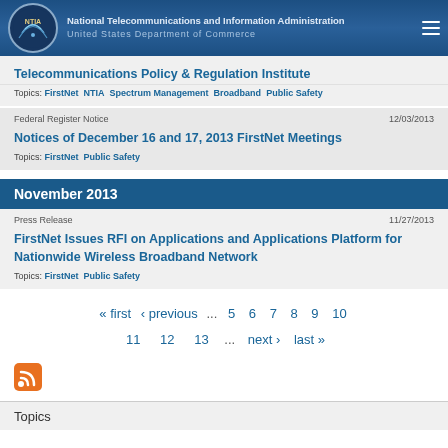National Telecommunications and Information Administration
United States Department of Commerce
Telecommunications Policy & Regulation Institute
Topics: FirstNet  NTIA  Spectrum Management  Broadband  Public Safety
Federal Register Notice    12/03/2013
Notices of December 16 and 17, 2013 FirstNet Meetings
Topics: FirstNet  Public Safety
November 2013
Press Release    11/27/2013
FirstNet Issues RFI on Applications and Applications Platform for Nationwide Wireless Broadband Network
Topics: FirstNet  Public Safety
« first  ‹ previous  ...  5  6  7  8  9  10
11  12  13  ...  next ›  last »
[Figure (other): RSS feed icon (orange square with white radiating signal waves)]
Topics